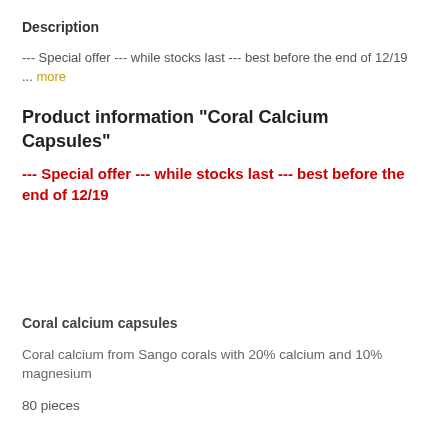Description
--- Special offer --- while stocks last --- best before the end of 12/19    … more
Product information "Coral Calcium Capsules"
--- Special offer --- while stocks last --- best before the end of 12/19
Coral calcium capsules
Coral calcium from Sango corals with 20% calcium and 10% magnesium
80 pieces